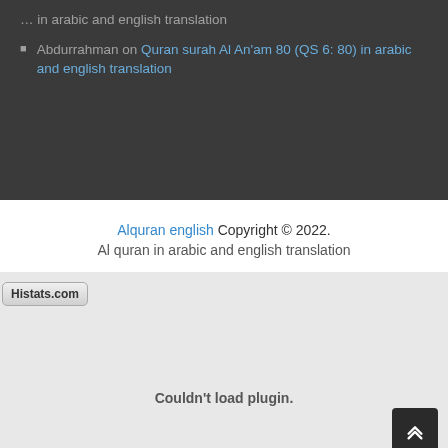... in arabic and english translation
Abdurrahman on Quran surah Al An'am 80 (QS 6: 80) in arabic and english translation
Alquran english Copyright © 2022. Al quran in arabic and english translation
[Figure (screenshot): Histats.com plugin widget area showing 'Couldn't load plugin.' message]
Couldn't load plugin.